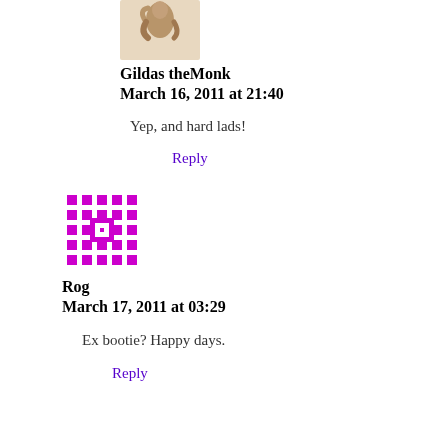[Figure (photo): Avatar image of a person (monk figure, sepia tone)]
Gildas theMonk
March 16, 2011 at 21:40
Yep, and hard lads!
Reply
[Figure (illustration): Purple pixel/mosaic style avatar icon]
Rog
March 17, 2011 at 03:29
Ex bootie? Happy days.
Reply